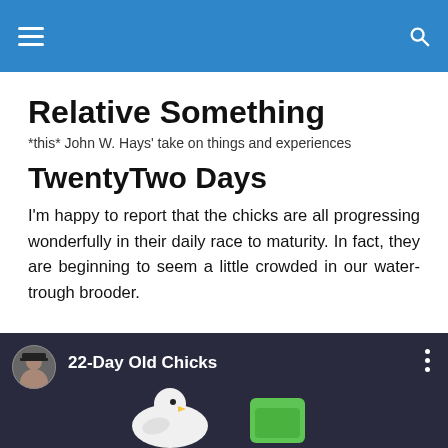Relative Something — navigation header bar
Relative Something
*this* John W. Hays' take on things and experiences
TwentyTwo Days
I'm happy to report that the chicks are all progressing wonderfully in their daily race to maturity. In fact, they are beginning to seem a little crowded in our water-trough brooder.
[Figure (screenshot): Video thumbnail showing a man with a beard wearing a cap, with text '22-Day Old Chicks' and three-dot menu icon. A white chick and green object are visible.]